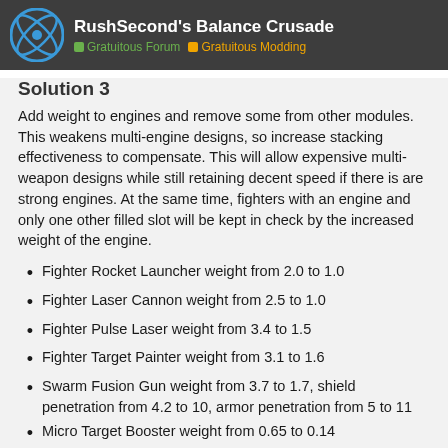RushSecond's Balance Crusade | Gratuitous Forum | Gratuitous Modding
Solution 3
Add weight to engines and remove some from other modules. This weakens multi-engine designs, so increase stacking effectiveness to compensate. This will allow expensive multi-weapon designs while still retaining decent speed if there is are strong engines. At the same time, fighters with an engine and only one other filled slot will be kept in check by the increased weight of the engine.
Fighter Rocket Launcher weight from 2.0 to 1.0
Fighter Laser Cannon weight from 2.5 to 1.0
Fighter Pulse Laser weight from 3.4 to 1.5
Fighter Target Painter weight from 3.1 to 1.6
Swarm Fusion Gun weight from 3.7 to 1.7, shield penetration from 4.2 to 10, armor penetration from 5 to 11
Micro Target Booster weight from 0.65 to 0.14
Nomadic DogFight Laser weight from 3.5 to 1.6
All power modules have 1.0 less w…
All engines have 2.5 more weight…
1 / 5